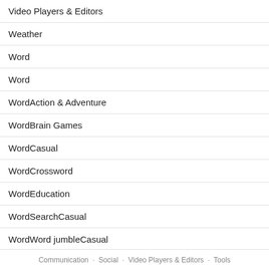Video Players & Editors
Weather
Word
Word
WordAction & Adventure
WordBrain Games
WordCasual
WordCrossword
WordEducation
WordSearchCasual
WordWord jumbleCasual
Communication · Social · Video Players & Editors · Tools